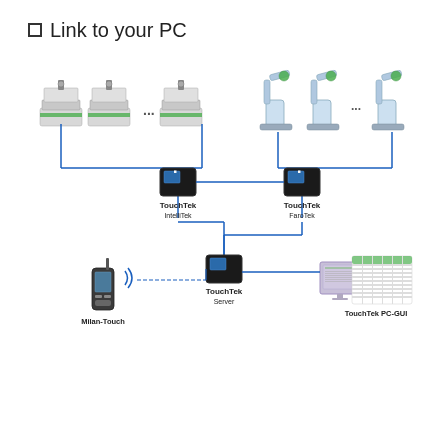Link to your PC
[Figure (network-graph): Network diagram showing TouchTek system architecture. On the top left, a row of turnstile/gate devices connected via blue lines to a TouchTek IntelliTek controller box. On the top right, a row of robotic arm devices connected via blue lines to a TouchTek FaroTek controller box. Both controllers connect down via blue lines to a central TouchTek Server box. On the lower left, a Milan-Touch handheld radio device with wireless signal icon connects wirelessly to the server. On the lower right, the server connects to a PC monitor showing TouchTek PC-GUI application with spreadsheet-like interface. Components labeled: TouchTek IntelliTek, TouchTek FaroTek, Milan-Touch, TouchTek Server, TouchTek PC-GUI.]